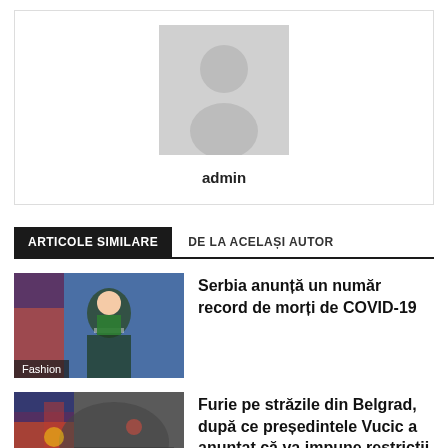[Figure (illustration): Gray placeholder avatar with person silhouette icon]
admin
ARTICOLE SIMILARE	DE LA ACELAȘI AUTOR
[Figure (photo): Photo of a woman speaking at a podium with Serbian flag, labeled Fashion]
Serbia anunță un număr record de morți de COVID-19
[Figure (photo): Photo of protest crowd with Serbian flags in Belgrad, labeled Fashion]
Furie pe străzile din Belgrad, după ce președintele Vucic a anunțat că va impune restricții în perioada 10-12